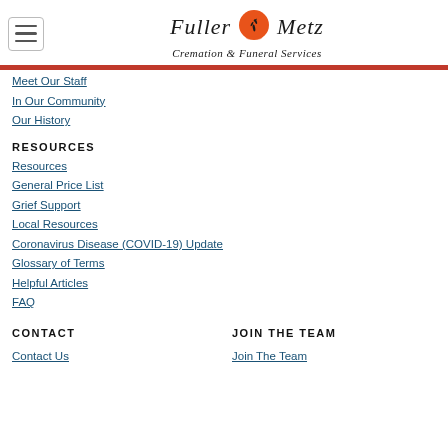[Figure (logo): Fuller Metz Cremation & Funeral Services logo with orange sun and black heron silhouette]
Meet Our Staff
In Our Community
Our History
RESOURCES
Resources
General Price List
Grief Support
Local Resources
Coronavirus Disease (COVID-19) Update
Glossary of Terms
Helpful Articles
FAQ
CONTACT
JOIN THE TEAM
Contact Us
Join The Team